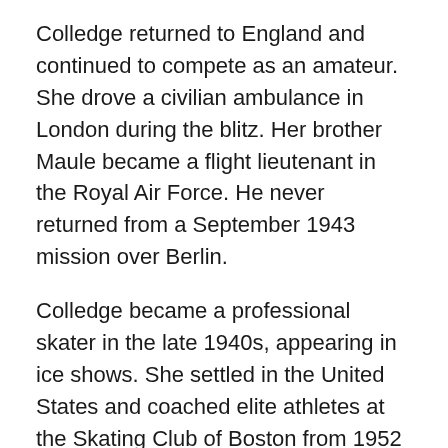Colledge returned to England and continued to compete as an amateur. She drove a civilian ambulance in London during the blitz. Her brother Maule became a flight lieutenant in the Royal Air Force. He never returned from a September 1943 mission over Berlin.
Colledge became a professional skater in the late 1940s, appearing in ice shows. She settled in the United States and coached elite athletes at the Skating Club of Boston from 1952 to 1977. She died, at the age of 87, in 2008 in Cambridge, Massachusetts. Colledge never married and had no survivors.
And what of Axel Paulsen? He returned home and, after the death of his father, took over the family coffee shop until his death in 1936. The daring jump he invented is now known as the axel – just as all ice groomers are now